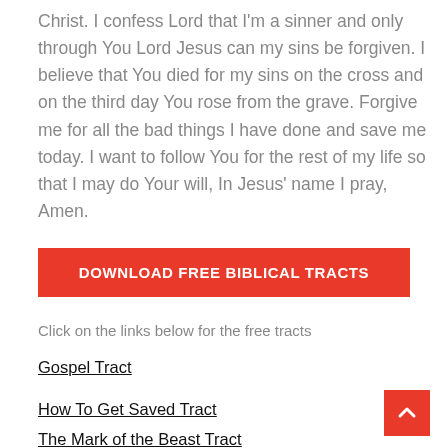Christ. I confess Lord that I'm a sinner and only through You Lord Jesus can my sins be forgiven. I believe that You died for my sins on the cross and on the third day You rose from the grave. Forgive me for all the bad things I have done and save me today. I want to follow You for the rest of my life so that I may do Your will, In Jesus' name I pray, Amen.
DOWNLOAD FREE BIBLICAL TRACTS
Click on the links below for the free tracts
Gospel Tract
How To Get Saved Tract
The Mark of the Beast Tract